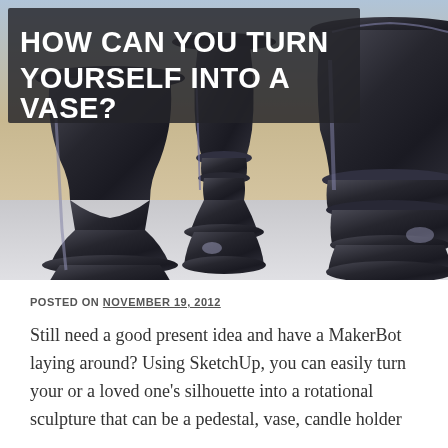[Figure (photo): 3D rendered dark metallic vase/pedestal shapes arranged in a row against a beige and blue-grey background]
HOW CAN YOU TURN YOURSELF INTO A VASE?
POSTED ON NOVEMBER 19, 2012
Still need a good present idea and have a MakerBot laying around? Using SketchUp, you can easily turn your or a loved one's silhouette into a rotational sculpture that can be a pedestal, vase, candle holder